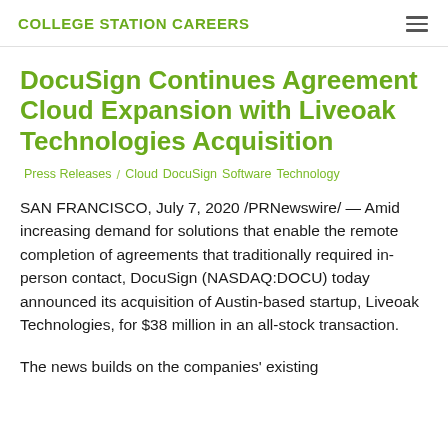COLLEGE STATION CAREERS
DocuSign Continues Agreement Cloud Expansion with Liveoak Technologies Acquisition
Press Releases / Cloud DocuSign Software Technology
SAN FRANCISCO, July 7, 2020 /PRNewswire/ — Amid increasing demand for solutions that enable the remote completion of agreements that traditionally required in-person contact, DocuSign (NASDAQ:DOCU) today announced its acquisition of Austin-based startup, Liveoak Technologies, for $38 million in an all-stock transaction.
The news builds on the companies' existing